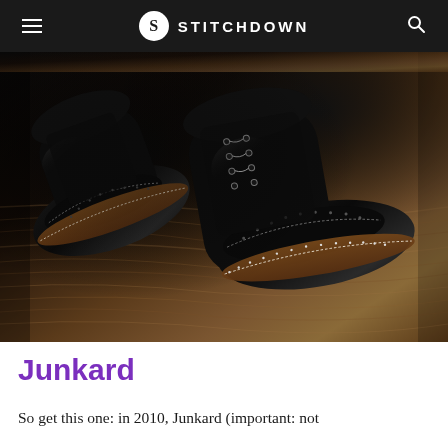STITCHDOWN
[Figure (photo): Two black leather cap-toe oxford/derby shoes with brogue detailing along the cap seam, displayed on a rustic wooden surface. The shoes have white stitching visible on the welt and brown leather soles. Shot in dark, dramatic studio lighting.]
Junkard
So get this one: in 2010, Junkard (important: not